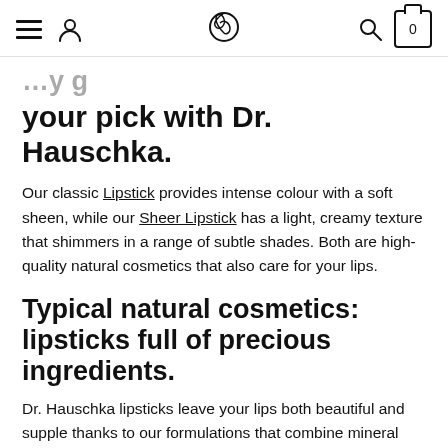Navigation header with hamburger menu, user icon, Dr. Hauschka logo, search icon, and cart (0)
your pick with Dr. Hauschka.
Our classic Lipstick provides intense colour with a soft sheen, while our Sheer Lipstick has a light, creamy texture that shimmers in a range of subtle shades. Both are high-quality natural cosmetics that also care for your lips.
Typical natural cosmetics: lipsticks full of precious ingredients.
Dr. Hauschka lipsticks leave your lips both beautiful and supple thanks to our formulations that combine mineral pigments and plant extracts with high-quality waxes and oils. We obtain our argan oil, almond oil, carnauba wax, beeswax, rose petals and rose hips in organic quality whenever